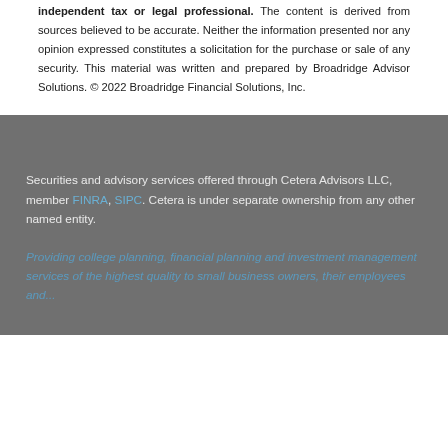independent tax or legal professional. The content is derived from sources believed to be accurate. Neither the information presented nor any opinion expressed constitutes a solicitation for the purchase or sale of any security. This material was written and prepared by Broadridge Advisor Solutions. © 2022 Broadridge Financial Solutions, Inc.
Securities and advisory services offered through Cetera Advisors LLC, member FINRA, SIPC. Cetera is under separate ownership from any other named entity.
Providing college planning, financial planning and investment management services of the highest quality to small business owners, their employees and...